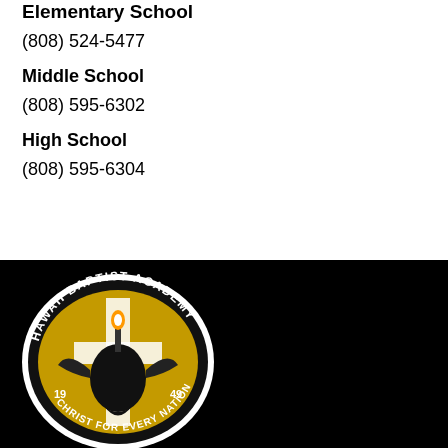Elementary School
(808) 524-5477
Middle School
(808) 595-6302
High School
(808) 595-6304
[Figure (logo): Hawaii Baptist Academy seal/logo on black background. Oval seal with eagle and torch, gold and black colors, text reading HAWAII BAPTIST ACADEMY, 1949, CHRIST FOR EVERY NATION]